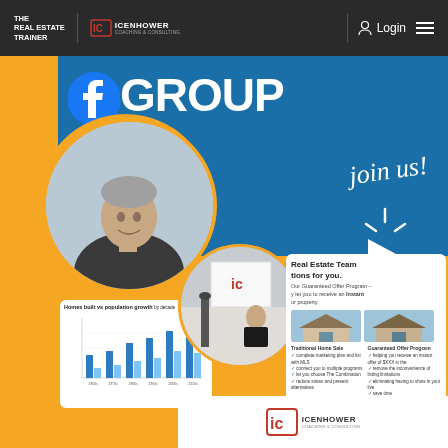THE REAL ESTATE TRAINER | ICENHOWER COACHING & CONSULTING | Login
[Figure (infographic): Facebook GROUP promotional banner for Icenhower Coaching & Consulting real estate Facebook group. Features blue and orange design with Facebook 'f' logo, 'GROUP' text, 'join us!' script text with cursor icon, photo of a man smiling, circular inset of presenter at whiteboard, bar chart showing homes built vs population growth, and real estate team information panel with Guaranteed Offer Program details. Icenhower logo at bottom.]